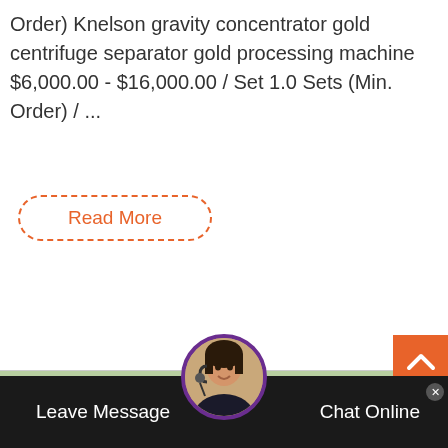Order) Knelson gravity concentrator gold centrifuge separator gold processing machine $6,000.00 - $16,000.00 / Set 1.0 Sets (Min. Order) / ...
Read More
[Figure (photo): Industrial mining/processing facility with large steel framework structure, conveyor belts, and crushing/processing machinery outdoors]
Live Chat
Leave Message
Chat Online